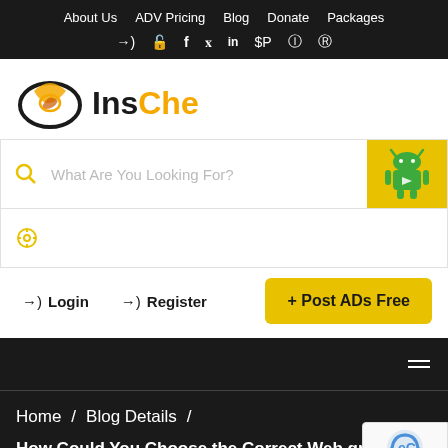About Us | ADV Pricing | Blog | Donate | Packages
[Figure (logo): InsChe website logo with orange/black swirl icon and text 'InsChe' where 'Che' is in orange]
What Are You Looking For? (search bar)
Login  Register  + Post ADs Free
Home / Blog Details / How Could You Choose the Correct Web green number for Your Website?